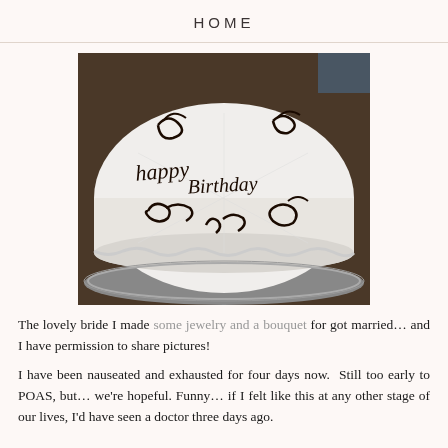HOME
[Figure (photo): A white frosted cake with chocolate script writing that reads 'Happy Birthday' along with other chocolate decorative script and flourishes, viewed from above on a metallic cake board.]
The lovely bride I made some jewelry and a bouquet for got married… and I have permission to share pictures!
I have been nauseated and exhausted for four days now.  Still too early to POAS, but… we're hopeful.  Funny… if I felt like this at any other stage of our lives, I'd have seen a doctor three days ago.